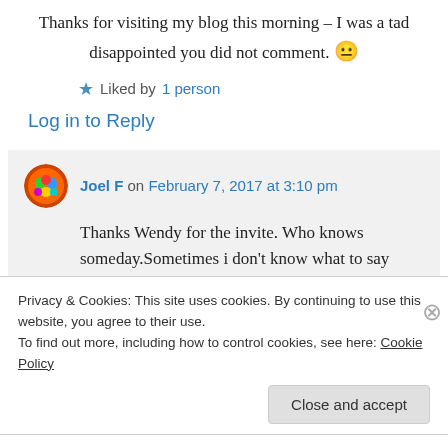Thanks for visiting my blog this morning – I was a tad disappointed you did not comment. 😐
★ Liked by 1 person
Log in to Reply
Joel F on February 7, 2017 at 3:10 pm
Thanks Wendy for the invite. Who knows someday.Sometimes i don't know what to say that's why i don't comment but rest
Privacy & Cookies: This site uses cookies. By continuing to use this website, you agree to their use. To find out more, including how to control cookies, see here: Cookie Policy
Close and accept